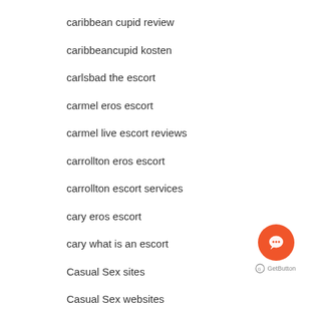caribbean cupid review
caribbeancupid kosten
carlsbad the escort
carmel eros escort
carmel live escort reviews
carrollton eros escort
carrollton escort services
cary eros escort
cary what is an escort
Casual Sex sites
Casual Sex websites
Catholic Dating Sites apps
Catholic Dating Sites username
[Figure (other): Orange circular chat button with speech bubble icon and GetButton branding label below]